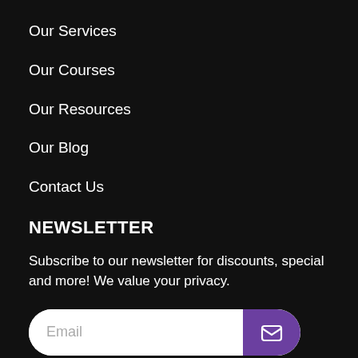Our Services
Our Courses
Our Resources
Our Blog
Contact Us
NEWSLETTER
Subscribe to our newsletter for discounts, special and more! We value your privacy.
[Figure (other): Email subscription input field with placeholder text 'Email' and a purple submit button with an envelope icon]